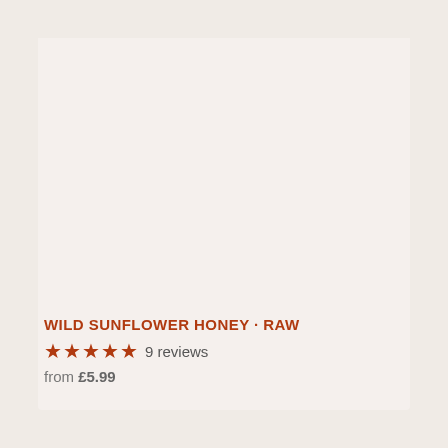[Figure (photo): Product image area - blank/empty pinkish-beige background placeholder for Wild Sunflower Honey - Raw product]
WILD SUNFLOWER HONEY · RAW
★★★★★ 9 reviews
from £5.99